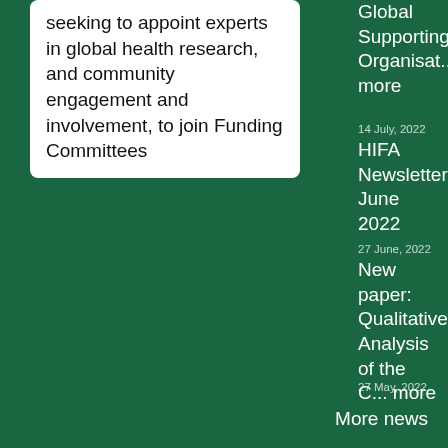seeking to appoint experts in global health research, and community engagement and involvement, to join Funding Committees
Global Supporting Organisat... more
14 July, 2022
HIFA Newsletter June 2022
27 June, 2022
New paper: Qualitative Analysis of the C... more
27 May, 2022
More news